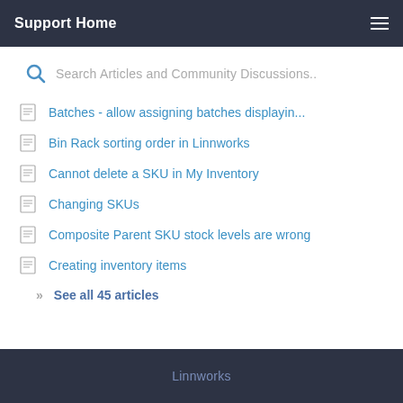Support Home
Search Articles and Community Discussions..
Batches - allow assigning batches displayin...
Bin Rack sorting order in Linnworks
Cannot delete a SKU in My Inventory
Changing SKUs
Composite Parent SKU stock levels are wrong
Creating inventory items
See all 45 articles
Linnworks